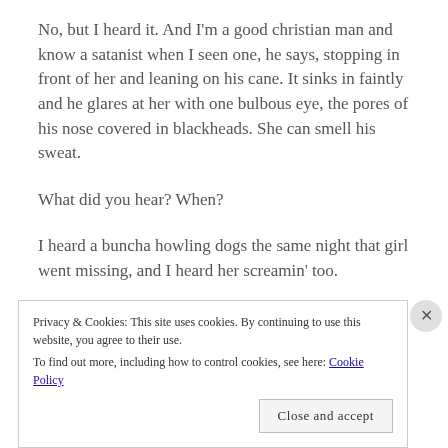No, but I heard it. And I’m a good christian man and know a satanist when I seen one, he says, stopping in front of her and leaning on his cane. It sinks in faintly and he glares at her with one bulbous eye, the pores of his nose covered in blackheads. She can smell his sweat.
What did you hear? When?
I heard a buncha howling dogs the same night that girl went missing, and I heard her screamin’ too.
Is it possible you were asleep?
Privacy & Cookies: This site uses cookies. By continuing to use this website, you agree to their use.
To find out more, including how to control cookies, see here: Cookie Policy